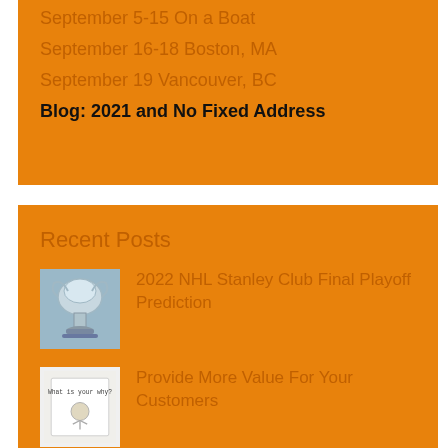September 5-15 On a Boat
September 16-18 Boston, MA
September 19 Vancouver, BC
Blog: 2021 and No Fixed Address
Recent Posts
[Figure (photo): Stanley Cup trophy photograph, silver cup on base, blue-grey tones]
2022 NHL Stanley Club Final Playoff Prediction
[Figure (photo): Book or card with text 'What is your why?' with illustrated figure]
Provide More Value For Your Customers